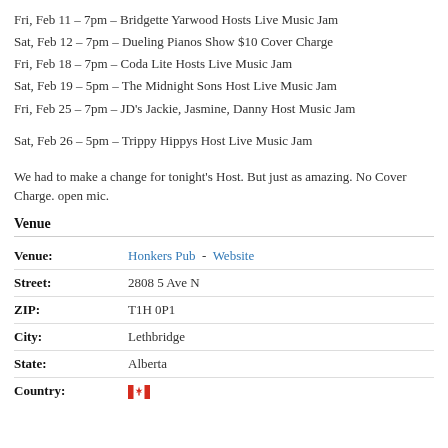Fri, Feb 11 – 7pm – Bridgette Yarwood Hosts Live Music Jam
Sat, Feb 12 – 7pm – Dueling Pianos Show $10 Cover Charge
Fri, Feb 18 – 7pm – Coda Lite Hosts Live Music Jam
Sat, Feb 19 – 5pm – The Midnight Sons Host Live Music Jam
Fri, Feb 25 – 7pm – JD's Jackie, Jasmine, Danny Host Music Jam
Sat, Feb 26 – 5pm – Trippy Hippys Host Live Music Jam
We had to make a change for tonight's Host. But just as amazing. No Cover Charge. open mic.
Venue
| Field | Value |
| --- | --- |
| Venue: | Honkers Pub  -  Website |
| Street: | 2808 5 Ave N |
| ZIP: | T1H 0P1 |
| City: | Lethbridge |
| State: | Alberta |
| Country: | [Canadian flag] |